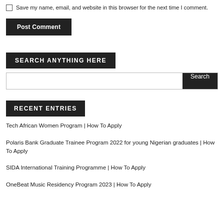Save my name, email, and website in this browser for the next time I comment.
Post Comment
SEARCH ANYTHING HERE
Search
RECENT ENTRIES
Tech African Women Program | How To Apply
Polaris Bank Graduate Trainee Program 2022 for young Nigerian graduates | How To Apply
SIDA International Training Programme | How To Apply
OneBeat Music Residency Program 2023 | How To Apply